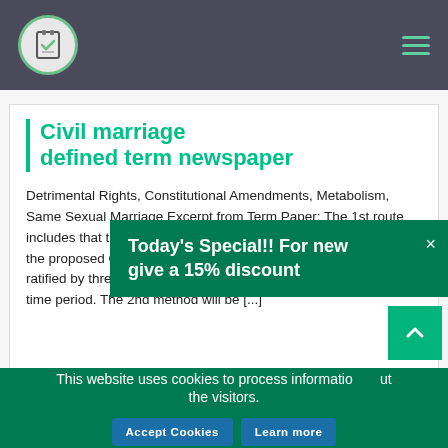Civil marriage defined term newspaper
Detrimental Rights, Constitutional Amendments, Metabolism, Same Sexual Marriage Excerpt from Term Paper: The 1st route includes that the Property and the Senate must every single ratify the proposed Change by a two-thirds majority. Then a bill must be ratified by three-fourths with the states' legislatures within a fair time period. The 2nd method will be [...]
Today's Special!! For new give a 15% discount
This website uses cookies to process information about the visitors.